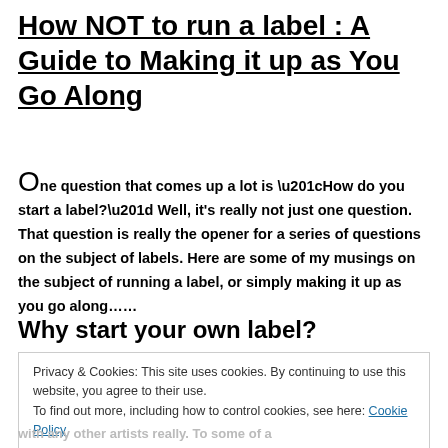How NOT to run a label : A Guide to Making it up as You Go Along
One question that comes up a lot is “How do you start a label?” Well, it’s really not just one question. That question is really the opener for a series of questions on the subject of labels. Here are some of my musings on the subject of running a label, or simply making it up as you go along……
Why start your own label?
Privacy & Cookies: This site uses cookies. By continuing to use this website, you agree to their use.
To find out more, including how to control cookies, see here: Cookie Policy
Close and accept
with any other artists really. To some of a